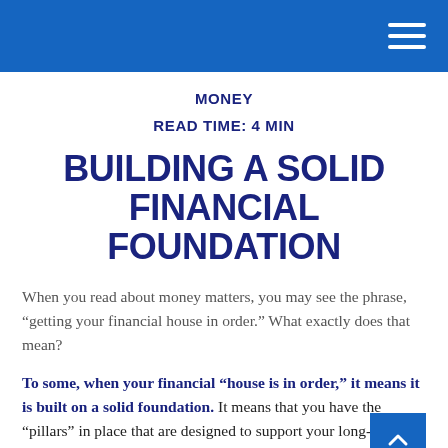MONEY
READ TIME: 4 MIN
BUILDING A SOLID FINANCIAL FOUNDATION
When you read about money matters, you may see the phrase, “getting your financial house in order.” What exactly does that mean?
To some, when your financial “house is in order,” it means it is built on a solid foundation. It means that you have the “pillars” in place that are designed to support your long-term financial well-being.